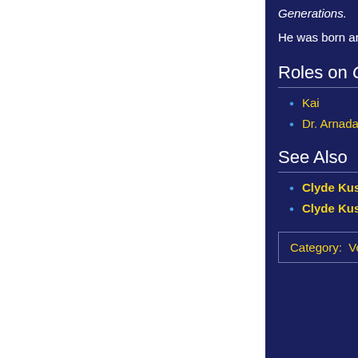Generations.
He was born and raised in Honolulu, Hawaii, where he attended Iolani School.
Roles on Gargoyles
Kai
Dr. Arnada
See Also
Clyde Kusatsu [ext] at Wikipedia, the Free Encyclopedia
Clyde Kusatsu [ext] at the Internet Movie Database
Category:  Voice Actors
Privacy policy   About GargWiki   Disclaimers